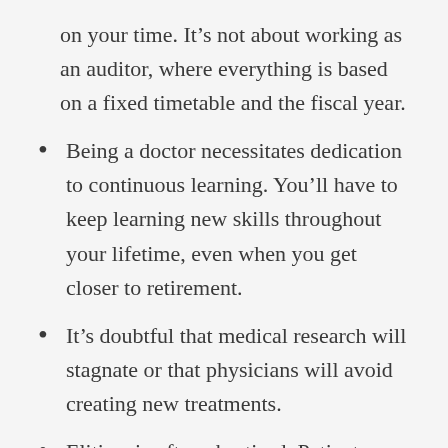on your time. It’s not about working as an auditor, where everything is based on a fixed timetable and the fiscal year.
Being a doctor necessitates dedication to continuous learning. You’ll have to keep learning new skills throughout your lifetime, even when you get closer to retirement.
It’s doubtful that medical research will stagnate or that physicians will avoid creating new treatments.
Elitism is often chastised. Patients, on the other hand, still want the best when it comes to medical treatment. No one needs